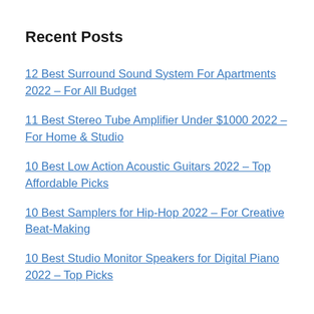Recent Posts
12 Best Surround Sound System For Apartments 2022 – For All Budget
11 Best Stereo Tube Amplifier Under $1000 2022 – For Home & Studio
10 Best Low Action Acoustic Guitars 2022 – Top Affordable Picks
10 Best Samplers for Hip-Hop 2022 – For Creative Beat-Making
10 Best Studio Monitor Speakers for Digital Piano 2022 – Top Picks